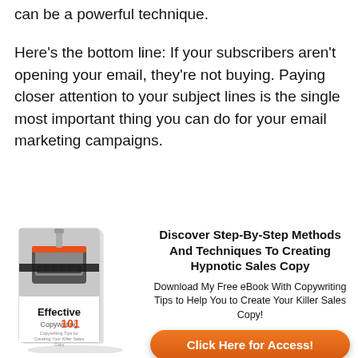can be a powerful technique.
Here’s the bottom line: If your subscribers aren’t opening your email, they’re not buying. Paying closer attention to your subject lines is the single most important thing you can do for your email marketing campaigns.
[Figure (illustration): Book cover of 'Effective Copywriting 101 - Copywriting Tips for Creating Your Killer Sales Copy' shown as a 3D book with typewriter image]
Discover Step-By-Step Methods And Techniques To Creating Hypnotic Sales Copy
Download My Free eBook With Copywriting Tips to Help You to Create Your Killer Sales Copy!
Click Here for Access!